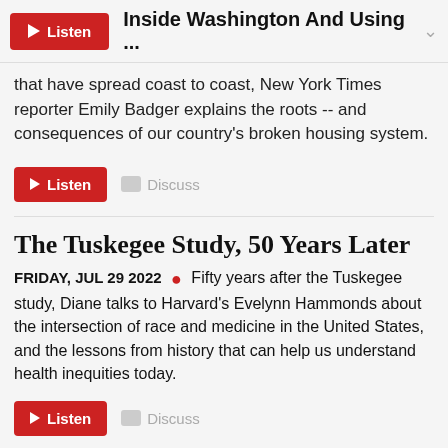Inside Washington And Using ...
that have spread coast to coast, New York Times reporter Emily Badger explains the roots -- and consequences of our country's broken housing system.
[Figure (other): Listen button (red) and Discuss button (gray)]
The Tuskegee Study, 50 Years Later
FRIDAY, JUL 29 2022 • Fifty years after the Tuskegee study, Diane talks to Harvard's Evelynn Hammonds about the intersection of race and medicine in the United States, and the lessons from history that can help us understand health inequities today.
[Figure (other): Listen button (red) and Discuss button (gray)]
What's Next In The Fight Over Abortion